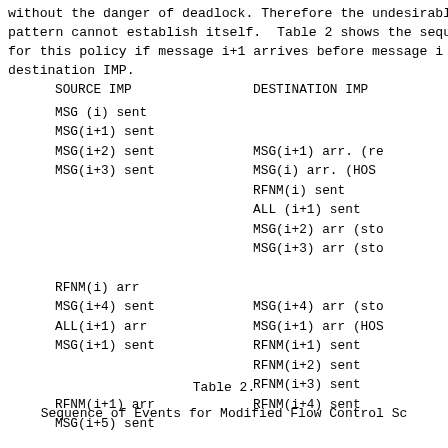without the danger of deadlock. Therefore the undesirable pattern cannot establish itself.  Table 2 shows the sequence for this policy if message i+1 arrives before message i at destination IMP.
| SOURCE IMP | DESTINATION IMP |
| --- | --- |
| MSG (i) sent |  |
| MSG(i+1) sent |  |
| MSG(i+2) sent | MSG(i+1) arr. (re... |
| MSG(i+3) sent | MSG(i) arr. (HOST... |
|  | RFNM(i) sent |
|  | ALL (i+1) sent |
|  | MSG(i+2) arr (sto... |
|  | MSG(i+3) arr (sto... |
| RFNM(i) arr |  |
| MSG(i+4) sent |  |
| ALL(i+1) arr | MSG(i+4) arr (sto... |
| MSG(i+1) sent | MSG(i+1) arr (HOS... |
|  | RFNM(i+1) sent |
| RFNM(i+1) arr | RFNM(i+2) sent |
| MSG(i+5) sent | RFNM(i+3) sent |
|  | RFNM(i+4) sent |
Table 2.
Sequence of Events for Modified Flow Control Sc...